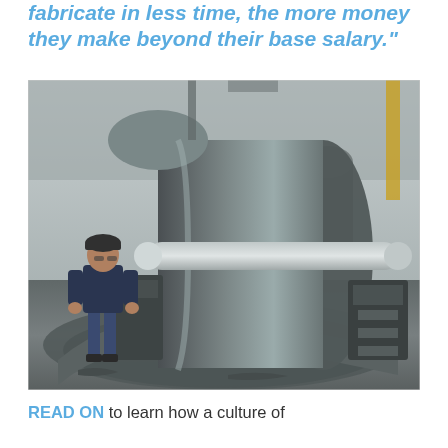fabricate in less time, the more money they make beyond their base salary."
[Figure (photo): Industrial fabrication shop photo showing a worker in dark clothing and hard hat standing beside large cylindrical metal components being rolled or formed on heavy machinery. The components appear to be large steel cylindrical shells or drum sections on a rolling machine.]
READ ON to learn how a culture of